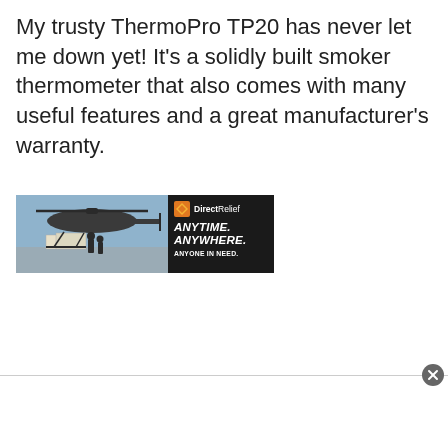My trusty ThermoPro TP20 has never let me down yet! It's a solidly built smoker thermometer that also comes with many useful features and a great manufacturer's warranty.
[Figure (illustration): Advertisement banner for Direct Relief charity showing a military helicopter being loaded with supplies. Right side has black background with Direct Relief logo and text: ANYTIME. ANYWHERE. ANYONE IN NEED.]